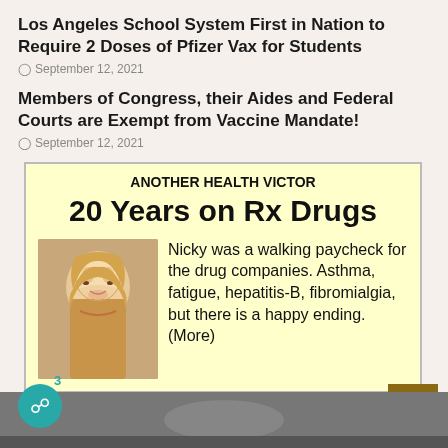Los Angeles School System First in Nation to Require 2 Doses of Pfizer Vax for Students
September 12, 2021
Members of Congress, their Aides and Federal Courts are Exempt from Vaccine Mandate!
September 12, 2021
[Figure (photo): Advertisement box with yellow background showing 'ANOTHER HEALTH VICTOR / 20 Years on Rx Drugs' with photo of smiling blonde woman and text: Nicky was a walking paycheck for the drug companies. Asthma, fatigue, hepatitis-B, fibromialgia, but there is a happy ending. (More)]
[Figure (screenshot): Bottom strip showing partial image, back-to-top button, and comment badge with count 3]